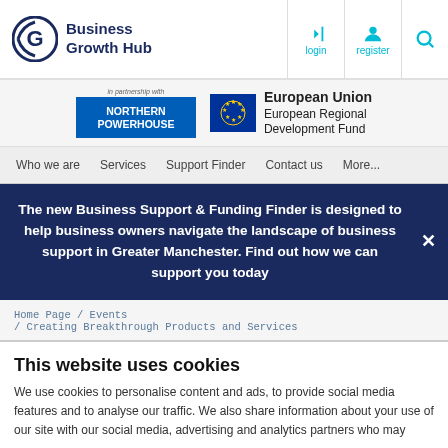Business Growth Hub — login, register, search navigation
[Figure (logo): Business Growth Hub logo with stylized G icon and text 'Business Growth Hub' in dark blue]
[Figure (logo): Northern Powerhouse logo (blue) and European Union European Regional Development Fund logo]
Who we are | Services | Support Finder | Contact us | More...
The new Business Support & Funding Finder is designed to help business owners navigate the landscape of business support in Greater Manchester. Find out how we can support you today
Home Page / Events / Creating Breakthrough Products and Services
This website uses cookies
We use cookies to personalise content and ads, to provide social media features and to analyse our traffic. We also share information about your use of our site with our social media, advertising and analytics partners who may